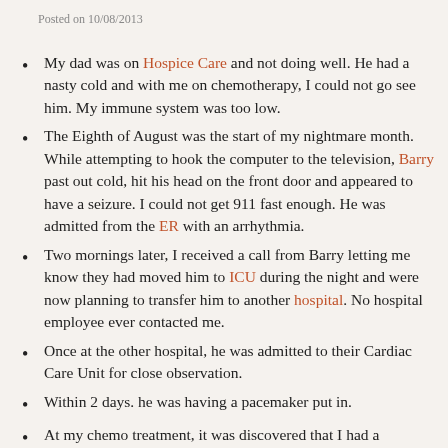Posted on 10/08/2013
My dad was on Hospice Care and not doing well. He had a nasty cold and with me on chemotherapy, I could not go see him. My immune system was too low.
The Eighth of August was the start of my nightmare month. While attempting to hook the computer to the television, Barry past out cold, hit his head on the front door and appeared to have a seizure.  I could not get 911 fast enough. He was admitted from the ER with an arrhythmia.
Two mornings later, I received a call from Barry letting me know they had moved him to ICU during the night and were now planning to transfer him to another hospital.  No hospital employee ever contacted me.
Once at the other hospital, he was admitted to their Cardiac Care Unit for close observation.
Within  2 days. he was having a pacemaker put in.
At my chemo treatment, it was discovered that I had a